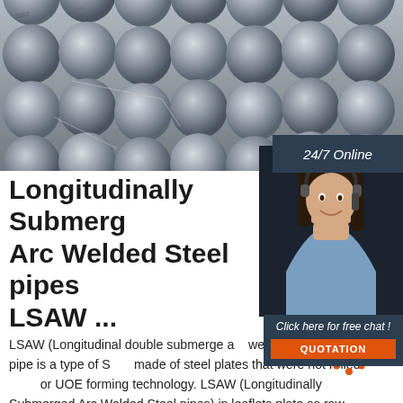[Figure (photo): Bundled steel rods/pipes stacked together, viewed from the end showing circular cross-sections, grey metallic color with labels tied on.]
Longitudinally Submerged Arc Welded Steel pipes LSAW ...
LSAW (Longitudinal double submerge arc welding) carbon steel pipe is a type of SAW made of steel plates that were hot rolled or UOE forming technology. LSAW (Longitudinally Submerged Arc Welded Steel pipes) in leaflets plate as raw material, the steel plate in the mold or molding machine pressure (volume) into using double-sided ...